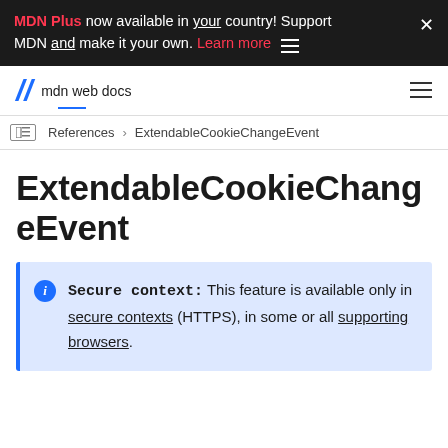MDN Plus now available in your country! Support MDN and make it your own. Learn more
mdm web docs
References > ExtendableCookieChangeEvent
ExtendableCookieChangeEvent
Secure context: This feature is available only in secure contexts (HTTPS), in some or all supporting browsers.